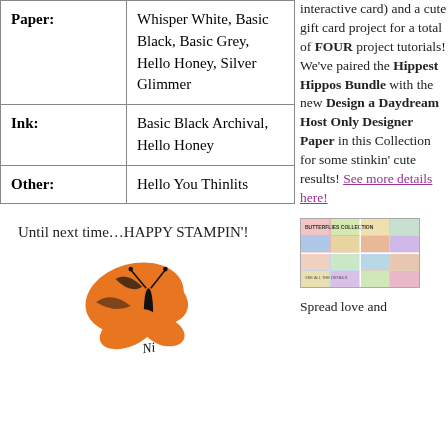| Supply Type | Details |
| --- | --- |
| Paper: | Whisper White, Basic Black, Basic Grey, Hello Honey, Silver Glimmer |
| Ink: | Basic Black Archival, Hello Honey |
| Other: | Hello You Thinlits |
Until next time…HAPPY STAMPIN'!
[Figure (illustration): Orange and black butterfly illustration with script signature below]
interactive card) and a cute gift card project for a total of FOUR project tutorials! We've paired the Hippest Hippos Bundle with the new Design a Daydream Host Only Designer Paper in this Collection for some stinkin' cute results! See more details here!
[Figure (photo): Colorful promotional image collage for Butterflies Collection with grid of colorful tiles and text overlay]
Spread love and